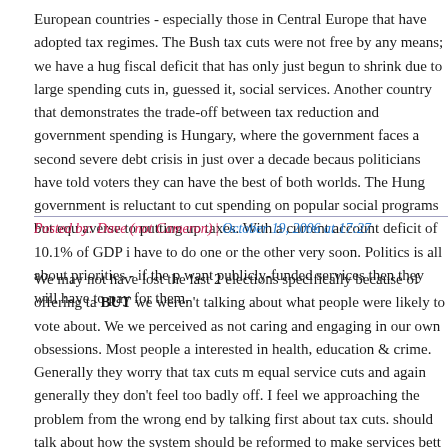European countries - especially those in Central Europe that have adopted tax regimes. The Bush tax cuts were not free by any means; we have a huge fiscal deficit that has only just begun to shrink due to large spending cuts in, guessed it, social services. Another country that demonstrates the trade-off between tax reduction and government spending is Hungary, where the government faces a second severe debt crisis in just over a decade because politicians have told voters they can have the best of both worlds. The Hungarian government is reluctant to cut spending on popular social programs but equally averse to putting up taxes. With a current account deficit of 10.1% of GDP it will have to do one or the other very soon. Politics is all about priorities - if the people want publicly-funded services then they will have to pay for them.
Posted by: Dave (not Cameron) | October 19, 2006 at 17:27
We may not have lost the last 2 elections specifically because of offering tax cuts BUT we weren't talking about what people were likely to vote about. We were perceived as not caring and engaging in our own obsessions. Most people are interested in health, education & crime. Generally they worry that tax cuts mean equal service cuts and again generally they don't feel too badly off. I feel we are approaching the problem from the wrong end by talking first about tax cuts. We should talk about how the system should be reformed to make services better and gain credibility for our position and prove we care. Labour are keen to go on the record that we agree with their increases. When we said the...